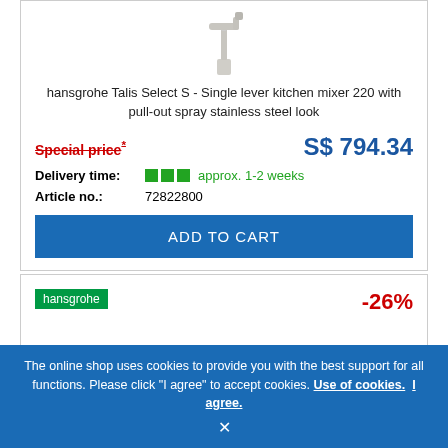[Figure (photo): Hansgrohe Talis Select S faucet image, partial top view]
hansgrohe Talis Select S - Single lever kitchen mixer 220 with pull-out spray stainless steel look
Special price* S$ 794.34
Delivery time: approx. 1-2 weeks
Article no.: 72822800
ADD TO CART
[Figure (logo): hansgrohe logo badge (green)]
-26%
The online shop uses cookies to provide you with the best support for all functions. Please click "I agree" to accept cookies. Use of cookies. I agree.